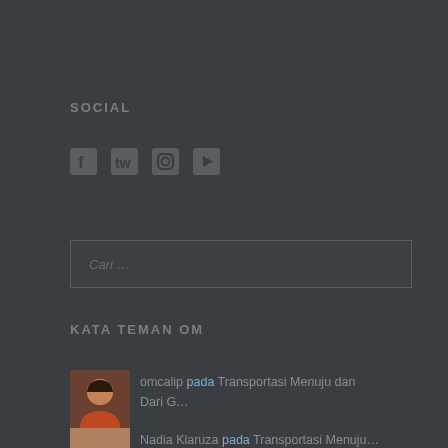SOCIAL
[Figure (infographic): Social media icons: Facebook, Twitter, Instagram, YouTube]
[Figure (infographic): Search box with placeholder text 'Cari ...']
KATA TEMAN OM
[Figure (photo): Avatar photo of omcalip, person in orange shirt]
omcalip pada Transportasi Menuju dan Dari G…
[Figure (photo): Avatar photo of Nadia Klaruza]
Nadia Klaruza pada Transportasi Menuju…